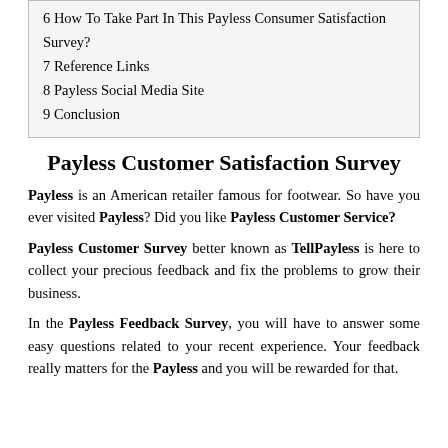6 How To Take Part In This Payless Consumer Satisfaction Survey?
7 Reference Links
8 Payless Social Media Site
9 Conclusion
Payless Customer Satisfaction Survey
Payless is an American retailer famous for footwear. So have you ever visited Payless? Did you like Payless Customer Service?
Payless Customer Survey better known as TellPayless is here to collect your precious feedback and fix the problems to grow their business.
In the Payless Feedback Survey, you will have to answer some easy questions related to your recent experience. Your feedback really matters for the Payless and you will be rewarded for that.